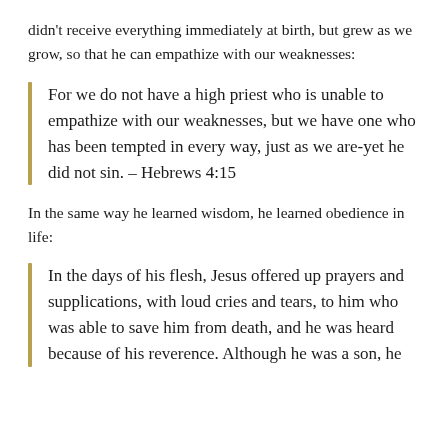didn't receive everything immediately at birth, but grew as we grow, so that he can empathize with our weaknesses:
For we do not have a high priest who is unable to empathize with our weaknesses, but we have one who has been tempted in every way, just as we are-yet he did not sin. – Hebrews 4:15
In the same way he learned wisdom, he learned obedience in life:
In the days of his flesh, Jesus offered up prayers and supplications, with loud cries and tears, to him who was able to save him from death, and he was heard because of his reverence. Although he was a son, he